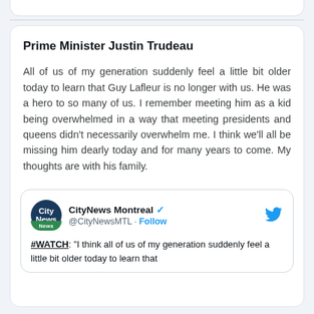Prime Minister Justin Trudeau
All of us of my generation suddenly feel a little bit older today to learn that Guy Lafleur is no longer with us. He was a hero to so many of us. I remember meeting him as a kid being overwhelmed in a way that meeting presidents and queens didn't necessarily overwhelm me. I think we'll all be missing him dearly today and for many years to come. My thoughts are with his family.
[Figure (screenshot): Embedded tweet from CityNews Montreal (@CityNewsMTL) with Follow button and Twitter bird logo. Tweet begins: #WATCH: "I think all of us of my generation suddenly feel a little bit older today to learn that"]